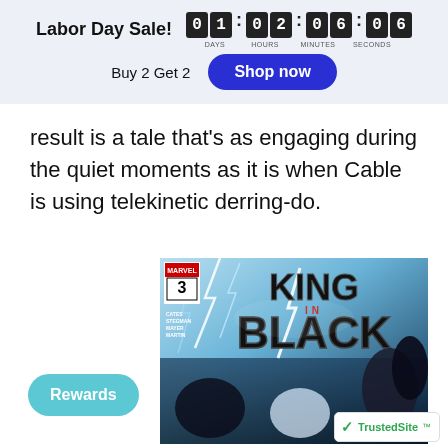Labor Day Sale! 01 02:06:06 DAYS HOURS MINUTES SECONDS Buy 2 Get 2 Shop now
result is a tale that’s as engaging during the quiet moments as it is when Cable is using telekinetic derring-do.
[Figure (screenshot): King in Black #3 comic book cover by Marvel Comics, featuring the title 'KING IN BLACK' in large stylized letters with lightning effects and characters in a dark action scene. Credits: Cates, Stegman, Mayer, Martin.]
Rewards
TrustedSite